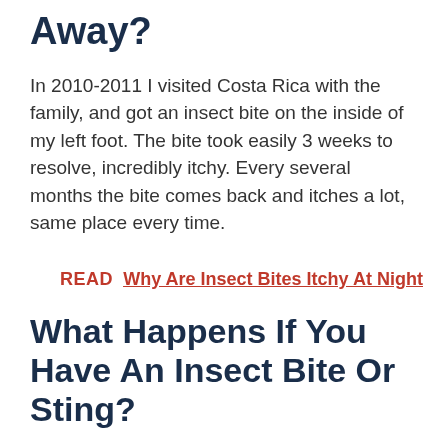Away?
In 2010-2011 I visited Costa Rica with the family, and got an insect bite on the inside of my left foot. The bite took easily 3 weeks to resolve, incredibly itchy. Every several months the bite comes back and itches a lot, same place every time.
READ  Why Are Insect Bites Itchy At Night
What Happens If You Have An Insect Bite Or Sting?
Insect bites (not stings) rarely cause serious allergic reactions but can cause small itchy